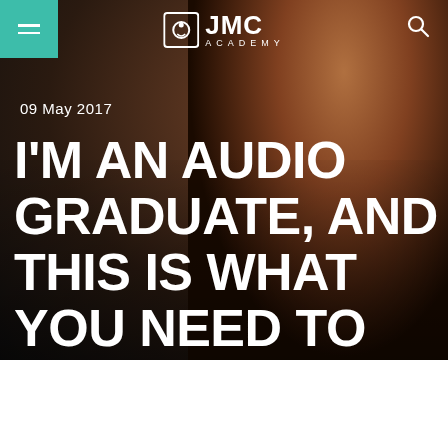[Figure (photo): Hero image of a smiling young woman with long brown hair sitting in front of audio equipment in a studio setting. Dark background. Navigation bar with teal hamburger menu on top-left, JMC Academy logo in center, and search icon on top-right.]
09 May 2017
I'M AN AUDIO GRADUATE, AND THIS IS WHAT YOU NEED TO KNOW.